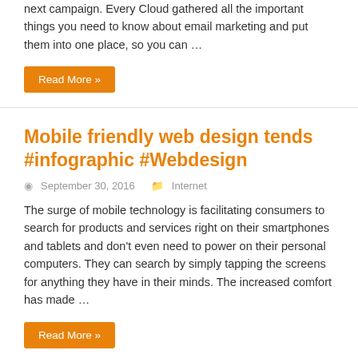next campaign. Every Cloud gathered all the important things you need to know about email marketing and put them into one place, so you can …
Read More »
Mobile friendly web design tends #infographic #Webdesign
September 30, 2016   Internet
The surge of mobile technology is facilitating consumers to search for products and services right on their smartphones and tablets and don't even need to power on their personal computers. They can search by simply tapping the screens for anything they have in their minds. The increased comfort has made …
Read More »
Why WordPress Is The best CMS in 2016